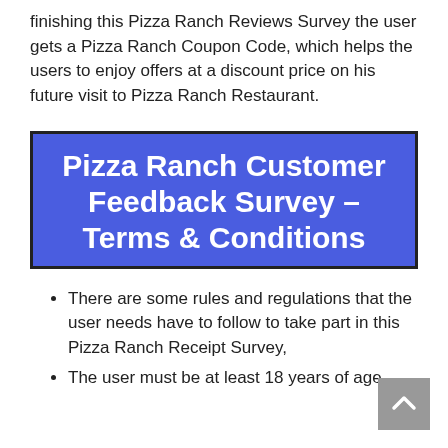finishing this Pizza Ranch Reviews Survey the user gets a Pizza Ranch Coupon Code, which helps the users to enjoy offers at a discount price on his future visit to Pizza Ranch Restaurant.
Pizza Ranch Customer Feedback Survey – Terms & Conditions
There are some rules and regulations that the user needs have to follow to take part in this Pizza Ranch Receipt Survey,
The user must be at least 18 years of age.